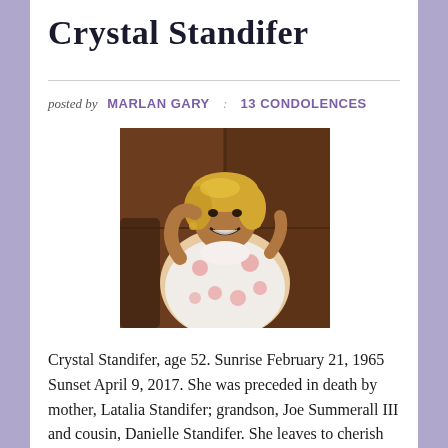Crystal Standifer
posted by  MARLAN GARY  :  13 CONDOLENCES
[Figure (photo): Photo of Crystal Standifer, a woman with blonde hair wearing a light floral blouse, smiling at the camera]
Crystal Standifer, age 52. Sunrise February 21, 1965 Sunset April 9, 2017. She was preceded in death by mother, Latalia Standifer; grandson, Joe Summerall III and cousin, Danielle Standifer. She leaves to cherish her memory, husband, Mark